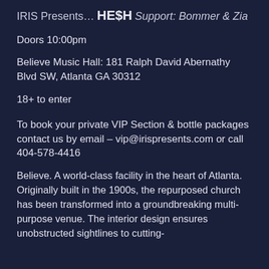IRIS Presents…
HE$H
Support: Bommer & Zia
Doors 10:00pm
Believe Music Hall: 181 Ralph David Abernathy Blvd SW, Atlanta GA 30312
18+ to enter
To book your private VIP Section & bottle packages contact us by email – vip@irispresents.com or call 404-578-4416
Believe. A world-class facility in the heart of Atlanta. Originally built in the 1900s, the repurposed church has been transformed into a groundbreaking multi-purpose venue. The interior design ensures unobstructed sightlines to cutting-